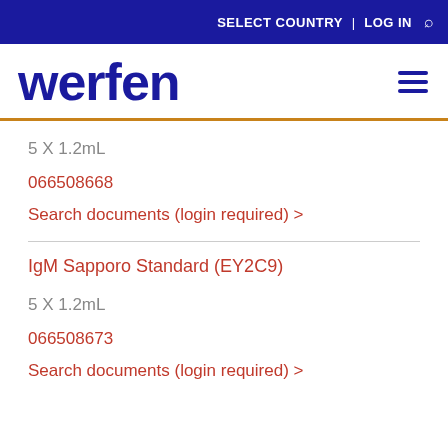SELECT COUNTRY | LOG IN 🔍
[Figure (logo): Werfen company logo in dark blue bold text]
5 X 1.2mL
066508668
Search documents (login required) >
IgM Sapporo Standard (EY2C9)
5 X 1.2mL
066508673
Search documents (login required) >